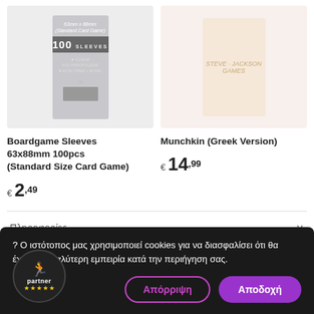[Figure (photo): Product image of Boardgame Sleeves 63x88mm 100pcs package, grey/silver colored]
[Figure (photo): Product image of Munchkin (Greek Version) board game, illustrated card game cover]
Boardgame Sleeves 63x88mm 100pcs (Standard Size Card Game)
€ 2,49
Munchkin (Greek Version)
€ 14,99
Πληροφορίες
? Ο ιστότοπος μας χρησιμοποιεί cookies για να διασφαλίσει ότι θα έχετε την καλύτερη εμπειρία κατά την περιήγηση σας.
Απόρριψη
Αποδοχή